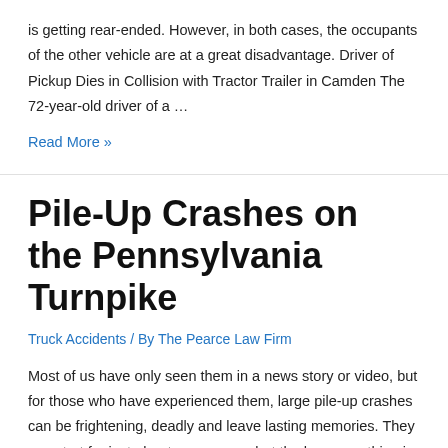is getting rear-ended. However, in both cases, the occupants of the other vehicle are at a great disadvantage. Driver of Pickup Dies in Collision with Tractor Trailer in Camden The 72-year-old driver of a …
Read More »
Pile-Up Crashes on the Pennsylvania Turnpike
Truck Accidents / By The Pearce Law Firm
Most of us have only seen them in a news story or video, but for those who have experienced them, large pile-up crashes can be frightening, deadly and leave lasting memories. They can start for just about any reason, but the have one thing in common and that is the inability of upcoming vehicles to …